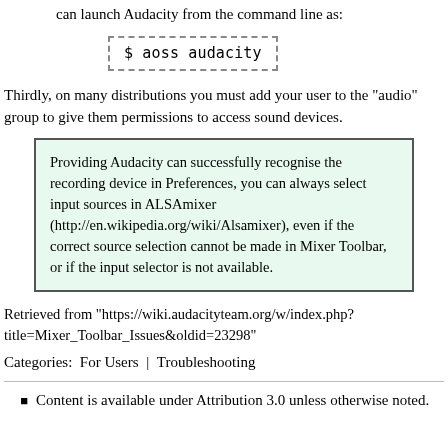can launch Audacity from the command line as:
$ aoss audacity
Thirdly, on many distributions you must add your user to the "audio" group to give them permissions to access sound devices.
Providing Audacity can successfully recognise the recording device in Preferences, you can always select input sources in ALSAmixer (http://en.wikipedia.org/wiki/Alsamixer), even if the correct source selection cannot be made in Mixer Toolbar, or if the input selector is not available.
Retrieved from "https://wiki.audacityteam.org/w/index.php?title=Mixer_Toolbar_Issues&oldid=23298"
Categories:  For Users | Troubleshooting
Content is available under Attribution 3.0 unless otherwise noted.